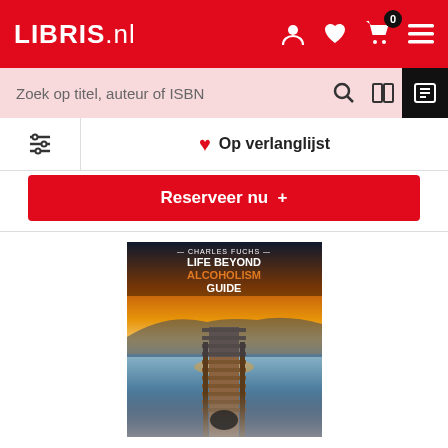LIBRIS.nl
Zoek op titel, auteur of ISBN
Op verlanglijst
Reserveer nu +
[Figure (photo): Book cover of 'Life Beyond Alcoholism Guide' by Charles Fuchs, showing a wooden dock extending over calm water at sunset with dramatic orange sky.]
Life Beyond Alcoholism Guide